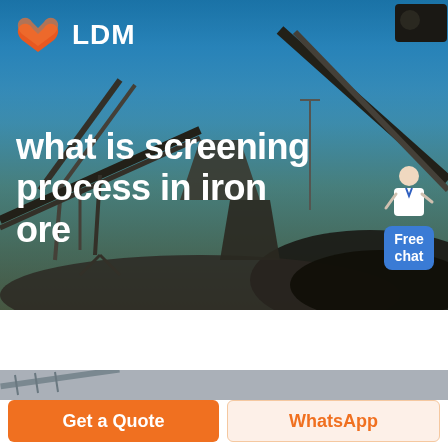[Figure (photo): Industrial iron ore screening facility with conveyor belts and machinery against a blue sky background]
what is screening process in iron ore
[Figure (photo): Close-up of industrial conveyor/screening equipment]
Get a Quote
WhatsApp